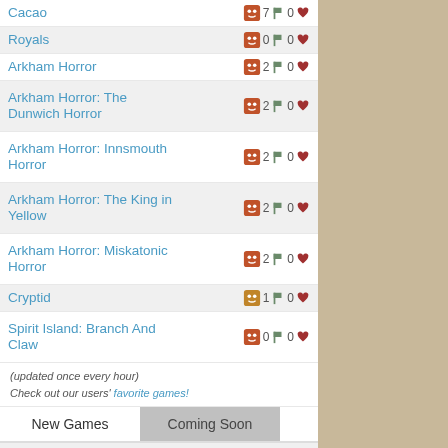Cacao | smiley | 7 flag | 0 heart
Royals | smiley | 0 flag | 0 heart
Arkham Horror | smiley | 2 flag | 0 heart
Arkham Horror: The Dunwich Horror | smiley | 2 flag | 0 heart
Arkham Horror: Innsmouth Horror | smiley | 2 flag | 0 heart
Arkham Horror: The King in Yellow | smiley | 2 flag | 0 heart
Arkham Horror: Miskatonic Horror | smiley | 2 flag | 0 heart
Cryptid | smiley | 1 flag | 0 heart
Spirit Island: Branch And Claw | smiley | 0 flag | 0 heart
(updated once every hour)
Check out our users' favorite games!
New Games | Coming Soon
see all new games >
Lost Ruins of Arnak